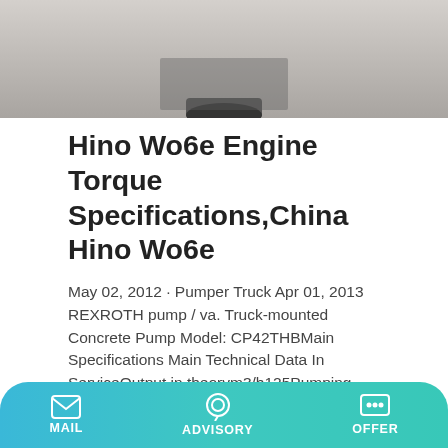[Figure (photo): Top portion of a vehicle/truck photo, showing the undercarriage/wheel area against a concrete surface background]
Hino Wo6e Engine Torque Specifications,China Hino Wo6e
May 02, 2012 · Pumper Truck Apr 01, 2013 REXROTH pump / va. Truck-mounted Concrete Pump Model: CP42THBMain Specifications Main Technical Data In ServiceOutput in theorym3/h125Pumping capacity indexMpa between the third & the fourth axlemm1310Front treadmm2065Rear treadmm1850Max.
[Figure (photo): Yellow concrete mixer truck or pump truck photographed in front of a building with tiled roof]
MAIL   ADVISORY   OFFER